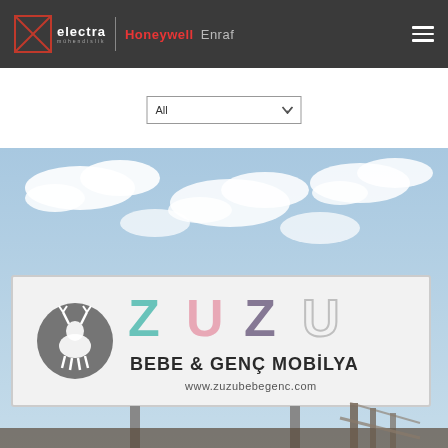electra mühendislik | Honeywell Enraf
[Figure (screenshot): Dropdown filter selector showing 'All' option with chevron arrow]
[Figure (photo): Outdoor billboard advertising ZUZU BEBE & GENÇ MOBİLYA furniture store with logo, deer icon, and website www.zuzubebegenc.com, set against a cloudy blue sky]